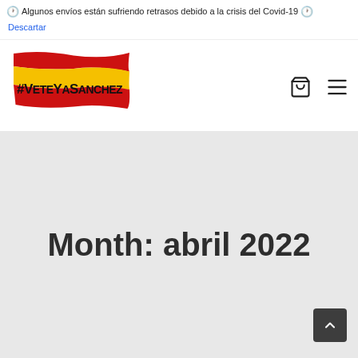🕐 Algunos envíos están sufriendo retrasos debido a la crisis del Covid-19 🕐 Descartar
[Figure (logo): #VeteYaSanchez logo with Spanish flag paint stroke background]
Month: abril 2022